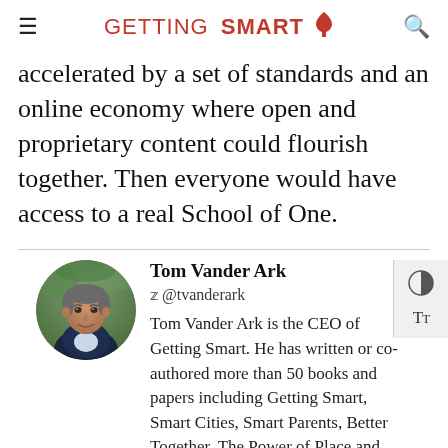GETTING SMART
accelerated by a set of standards and an online economy where open and proprietary content could flourish together. Then everyone would have access to a real School of One.
[Figure (photo): Circular portrait photo of Tom Vander Ark, a middle-aged man in a dark blazer, smiling, with a blurred outdoor background.]
Tom Vander Ark
@tvanderark
Tom Vander Ark is the CEO of Getting Smart. He has written or co-authored more than 50 books and papers including Getting Smart, Smart Cities, Smart Parents, Better Together, The Power of Place and Difference Making. He served as a public school superintendent and the first Executive